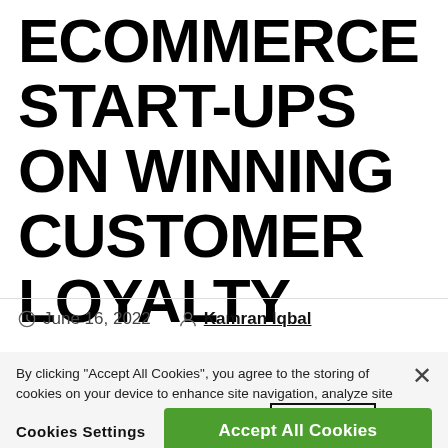ECOMMERCE START-UPS ON WINNING CUSTOMER LOYALTY
June 16, 2022   Kamran Iqbal
By clicking “Accept All Cookies”, you agree to the storing of cookies on your device to enhance site navigation, analyze site usage, and assist in our marketing efforts. Privacy Policy
Cookies Settings   Accept All Cookies